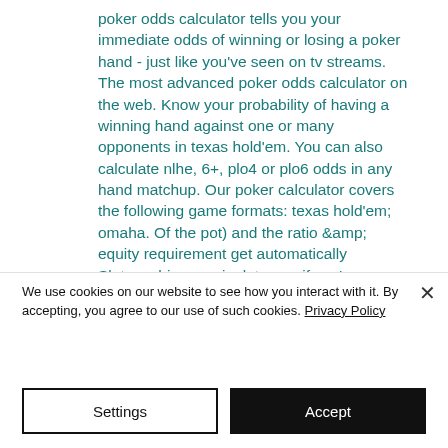poker odds calculator tells you your immediate odds of winning or losing a poker hand - just like you've seen on tv streams. The most advanced poker odds calculator on the web. Know your probability of having a winning hand against one or many opponents in texas hold'em. You can also calculate nlhe, 6+, plo4 or plo6 odds in any hand matchup. Our poker calculator covers the following game formats: texas hold'em; omaha. Of the pot) and the ratio &amp; equity requirement get automatically
Slot machine manipulate app if you're
We use cookies on our website to see how you interact with it. By accepting, you agree to our use of such cookies. Privacy Policy
Settings
Accept